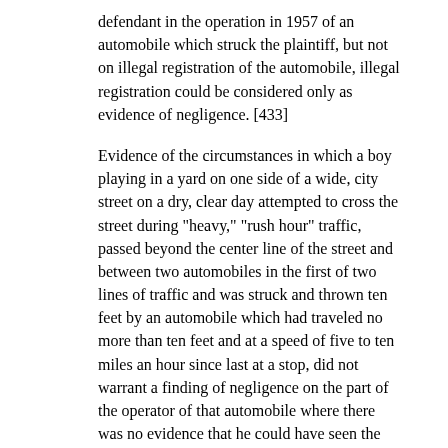defendant in the operation in 1957 of an automobile which struck the plaintiff, but not on illegal registration of the automobile, illegal registration could be considered only as evidence of negligence. [433]
Evidence of the circumstances in which a boy playing in a yard on one side of a wide, city street on a dry, clear day attempted to cross the street during "heavy," "rush hour" traffic, passed beyond the center line of the street and between two automobiles in the first of two lines of traffic and was struck and thrown ten feet by an automobile which had traveled no more than ten feet and at a speed of five to ten miles an hour since last at a stop, did not warrant a finding of negligence on the part of the operator of that automobile where there was no evidence that he could have seen the boy for more than an instant, if at all, before the impact. [433]
At the trial of an action to recover for injuries sustained by the plaintiff when struck by the defendant's automobile while crossing a street, where an eye-witness testified that his automobile and that of the defendant directly in front of it were in one of two lines of traffic at the time of the accident, the jury were not entitled to accept portions of the witness's